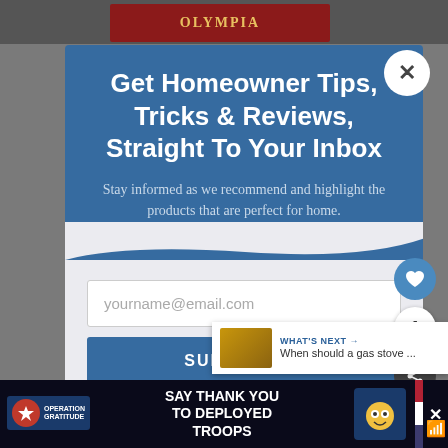[Figure (screenshot): Website popup modal for newsletter subscription on perfectforhome.com with blue header, email input, subscribe button, and an advertisement banner at the bottom for Operation Gratitude.]
Get Homeowner Tips, Tricks & Reviews, Straight To Your Inbox
Stay informed as we recommend and highlight the products that are perfect for home.
yourname@email.com
SUBSCRIBE!
*perfectforhome.com does not share your email with
WHAT'S NEXT → When should a gas stove ...
SAY THANK YOU TO DEPLOYED TROOPS